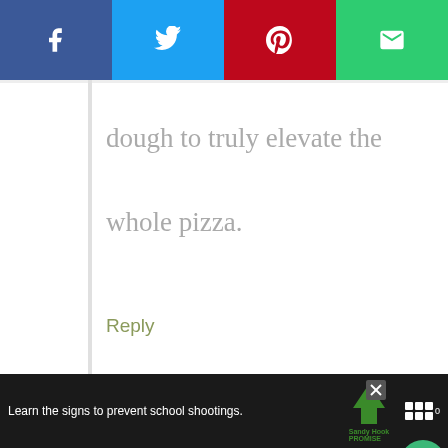[Figure (other): Social share bar with Facebook (purple), Twitter (blue), Pinterest (red), Email (green) buttons with icons]
dough to truly elevate the whole pizza.
Reply
[Figure (other): Green circular heart/like button with count 2.3K and a share button below]
[Figure (photo): Profile photo of woman (Suchi) in dark top with jewelry]
SUCHI@ ELEGANT MERAKI SAYS
[Figure (other): What's Next thumbnail - Rosemary Red Pepper Pizz...]
[Figure (other): Advertisement bar: Learn the signs to prevent school shootings. Sandy Hook Promise logo. Close button.]